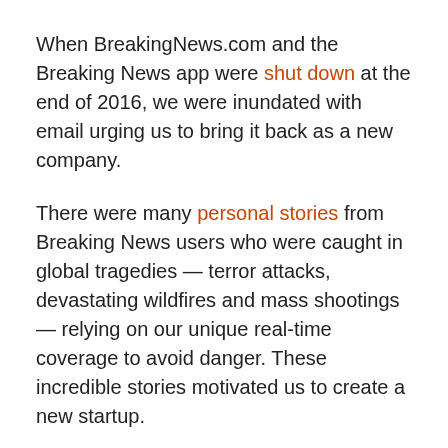When BreakingNews.com and the Breaking News app were shut down at the end of 2016, we were inundated with email urging us to bring it back as a new company.
There were many personal stories from Breaking News users who were caught in global tragedies — terror attacks, devastating wildfires and mass shootings — relying on our unique real-time coverage to avoid danger. These incredible stories motivated us to create a new startup.
But first, we needed a business model. Amid those personal stories were dozens of messages from corporations — a who's who of brand names — that relied on Breaking News to help protect their people and assets around the world.
“I’m devastated,” wrote one. “It’s proven invaluable to us,”